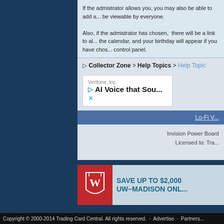If the admistrator allows you, you may also be able to add a... be viewable by everyone.

Also, if the admistrator has chosen, there will be a link to al... the calendar, and your birthday will appear if you have chos... control panel.
▷ Collector Zone > Help Topics > Help Topic
[Figure (screenshot): Veritone, Inc. advertisement: AI Voice that Sou...]
Lo-Fi V...
Invision Power Board
Licensed to: Tra...
[Figure (logo): UW-Madison banner: SAVE UP TO $2,000 UW-MADISON ONL...]
Copyright © 2000-2014 Trading Card Central. All rights reserved. · Advertise · Partners...